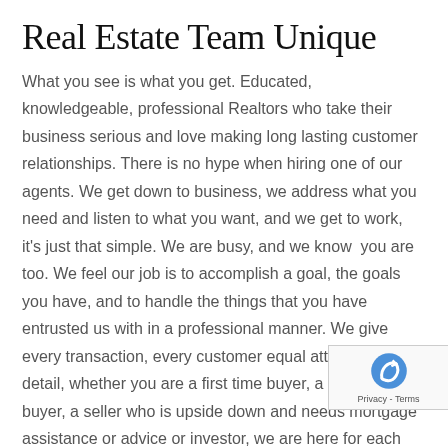Real Estate Team Unique
What you see is what you get. Educated, knowledgeable, professional Realtors who take their business serious and love making long lasting customer relationships. There is no hype when hiring one of our agents. We get down to business, we address what you need and listen to what you want, and we get to work, it's just that simple. We are busy, and we know  you are too. We feel our job is to accomplish a goal, the goals you have, and to handle the things that you have entrusted us with in a professional manner. We give every transaction, every customer equal attention to detail, whether you are a first time buyer, a second home buyer, a seller who is upside down and needs mortgage assistance or advice or investor, we are here for each real estate customers have. Debbie Kirkland, Realtor promises, t…